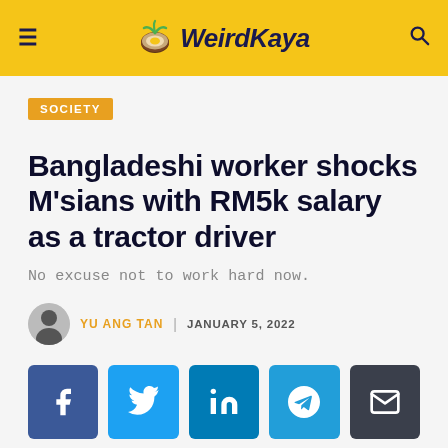WeirdKaya
SOCIETY
Bangladeshi worker shocks M'sians with RM5k salary as a tractor driver
No excuse not to work hard now.
YU ANG TAN | JANUARY 5, 2022
[Figure (other): Social share buttons: Facebook, Twitter, LinkedIn, Telegram, Email]